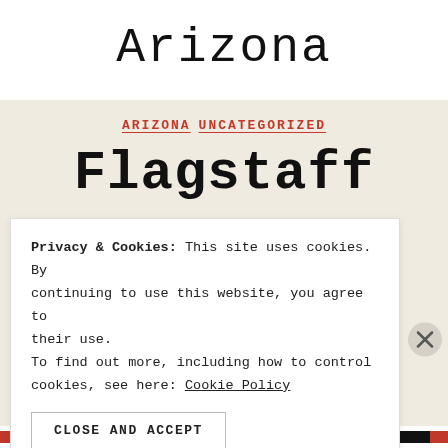Arizona
ARIZONA  UNCATEGORIZED
Flagstaff
By janispaqu   October 6, 2017
Privacy & Cookies: This site uses cookies. By continuing to use this website, you agree to their use.
To find out more, including how to control cookies, see here: Cookie Policy
CLOSE AND ACCEPT